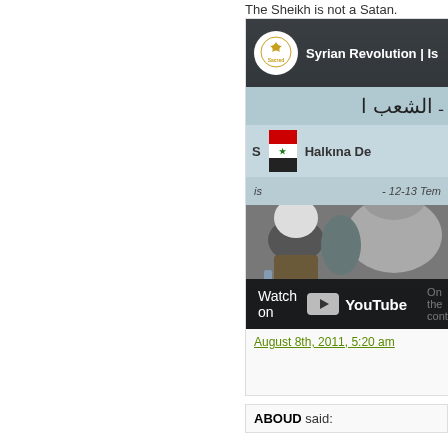The Sheikh is not a Satan.
[Figure (screenshot): YouTube video thumbnail showing a speaker at a conference on the Syrian Revolution with Arabic text banners and an audience including a woman in a white hijab and a man seen from behind. Has a 'Watch on YouTube' overlay button.]
August 8th, 2011, 5:20 am
ABOUD said: